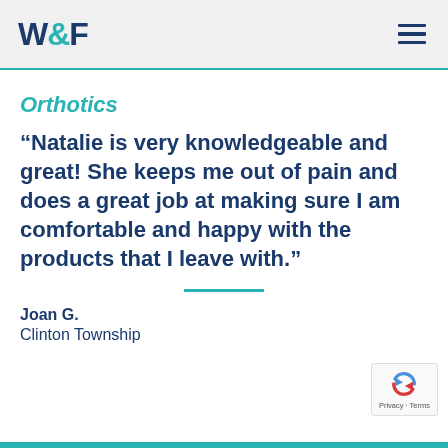W&F
Orthotics
“Natalie is very knowledgeable and great! She keeps me out of pain and does a great job at making sure I am comfortable and happy with the products that I leave with.”
Joan G.
Clinton Township